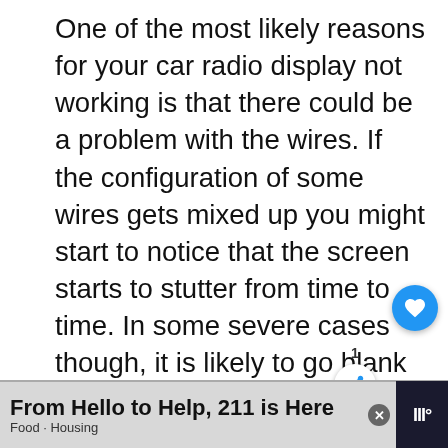One of the most likely reasons for your car radio display not working is that there could be a problem with the wires. If the configuration of some wires gets mixed up you might start to notice that the screen starts to stutter from time to time. In some severe cases though, it is likely to go blank in its entirety.
To fix this problem you need to know th the display unit is usually either solderd to the main radio unit or is conn with wires. If it is connected with wires, you need to check if any of them are d
[Figure (screenshot): UI overlay elements: heart/like button (blue circle with heart icon), share count (1) and share button, and a 'WHAT'S NEXT' panel showing '[SOLVED] How to Reset Ra...' with a dark thumbnail image.]
[Figure (screenshot): Advertisement banner at the bottom: 'From Hello to Help, 211 is Here' with subtitle 'Food · Housing', close button, and a dark icon on the right.]